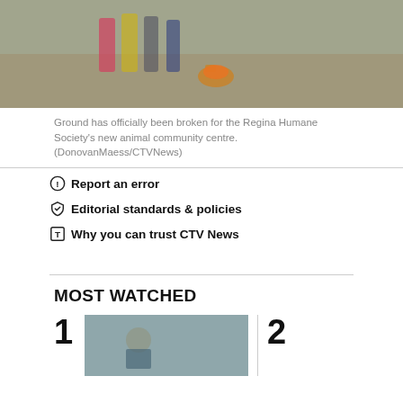[Figure (photo): Group of people standing outdoors at a groundbreaking event, one person holding a dog wearing an orange vest]
Ground has officially been broken for the Regina Humane Society's new animal community centre. (DonovanMaess/CTVNews)
Report an error
Editorial standards & policies
Why you can trust CTV News
MOST WATCHED
[Figure (photo): Thumbnail image number 1 in Most Watched section]
2